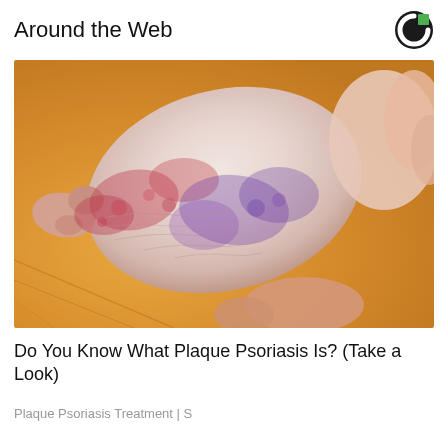Around the Web
[Figure (photo): Close-up photograph of a human foot/ankle held by hands showing skin affected by plaque psoriasis — flaky, dry, reddish and bluish-purple discolored patches on the sole and ankle area, with a wooden floor background.]
Do You Know What Plaque Psoriasis Is? (Take a Look)
Plaque Psoriasis Treatment | S